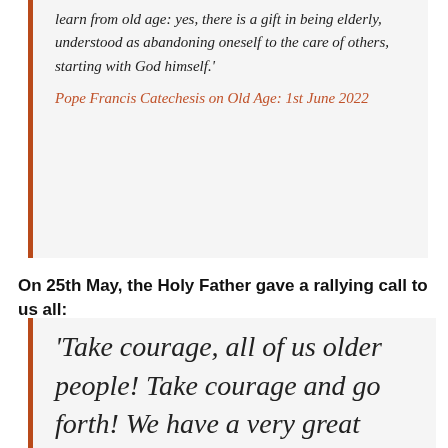learn from old age: yes, there is a gift in being elderly, understood as abandoning oneself to the care of others, starting with God himself.'
Pope Francis Catechesis on Old Age: 1st June 2022
On 25th May, the Holy Father gave a rallying call to us all:
'Take courage, all of us older people! Take courage and go forth! We have a very great mission in the world.'